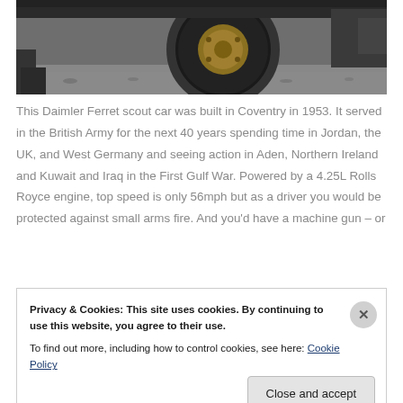[Figure (photo): Close-up photo of a military vehicle wheel/track on gravel ground, showing rubber tire and golden/tan hub, with a person's leg/boot partially visible on the left]
This Daimler Ferret scout car was built in Coventry in 1953. It served in the British Army for the next 40 years spending time in Jordan, the UK, and West Germany and seeing action in Aden, Northern Ireland and Kuwait and Iraq in the First Gulf War. Powered by a 4.25L Rolls Royce engine, top speed is only 56mph but as a driver you would be protected against small arms fire. And you'd have a machine gun – or
Privacy & Cookies: This site uses cookies. By continuing to use this website, you agree to their use.
To find out more, including how to control cookies, see here: Cookie Policy